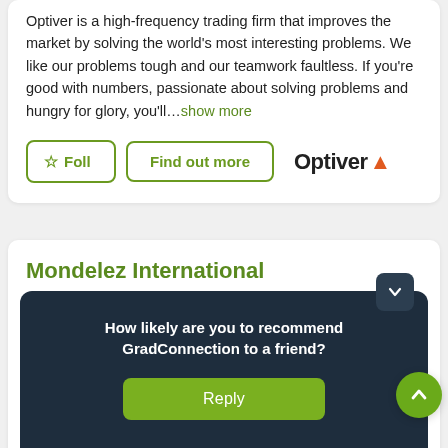Optiver is a high-frequency trading firm that improves the market by solving the world's most interesting problems. We like our problems tough and our teamwork faultless. If you're good with numbers, passionate about solving problems and hungry for glory, you'll...show more
[Figure (logo): Optiver logo with orange triangle]
Mondelez International
[Figure (logo): Mondelez International circular icon logo]
At Mondelēz International our diverse, truly environmental broad spectrum people
How likely are you to recommend GradConnection to a friend?